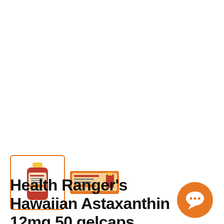[Figure (photo): Two product thumbnail images: first is selected (orange border) showing a supplement bottle with yellow cap; second shows a product box with orange packaging. These are Health Ranger's Hawaiian Astaxanthin 12mg 50 gelcaps product images.]
Health Ranger's Hawaiian Astaxanthin 12mg 50 gelcaps
[Figure (illustration): Orange circular chat bubble icon in the bottom right corner]